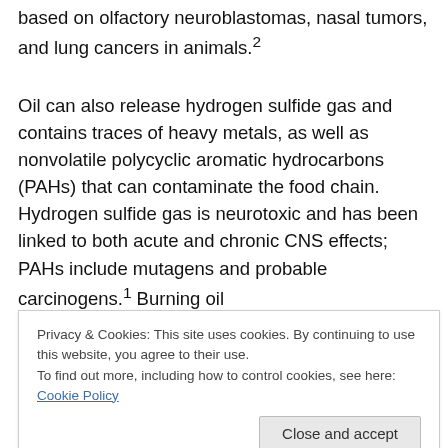based on olfactory neuroblastomas, nasal tumors, and lung cancers in animals.2
Oil can also release hydrogen sulfide gas and contains traces of heavy metals, as well as nonvolatile polycyclic aromatic hydrocarbons (PAHs) that can contaminate the food chain. Hydrogen sulfide gas is neurotoxic and has been linked to both acute and chronic CNS effects; PAHs include mutagens and probable carcinogens.1 Burning oil
Privacy & Cookies: This site uses cookies. By continuing to use this website, you agree to their use.
To find out more, including how to control cookies, see here: Cookie Policy
Close and accept